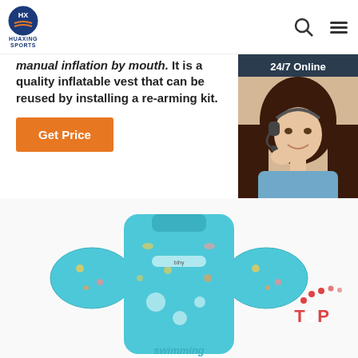HUAXING SPORTS
manual inflation by mouth. It is a quality inflatable vest that can be reused by installing a re-arming kit.
Get Price
[Figure (photo): Customer service representative with headset, 24/7 Online chat widget with QUOTATION button]
[Figure (photo): Blue children's swim vest with arm floaties, decorated with sea animal prints, text 'swimming' at bottom]